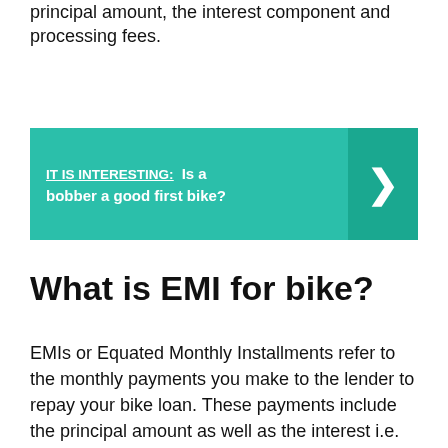principal amount, the interest component and processing fees.
[Figure (infographic): Teal banner with label 'IT IS INTERESTING:' and text 'Is a bobber a good first bike?' with a right arrow chevron on the right side.]
What is EMI for bike?
EMIs or Equated Monthly Installments refer to the monthly payments you make to the lender to repay your bike loan. These payments include the principal amount as well as the interest i.e. EMI = Principal Amount + Interest on Principal amount.